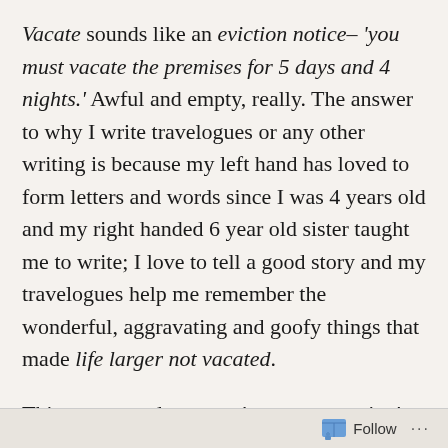Vacate sounds like an eviction notice– 'you must vacate the premises for 5 days and 4 nights.' Awful and empty, really. The answer to why I write travelogues or any other writing is because my left hand has loved to form letters and words since I was 4 years old and my right handed 6 year old sister taught me to write; I love to tell a good story and my travelogues help me remember the wonderful, aggravating and goofy things that made life larger not vacated.
This one started out as a 'mystery vacation' for our family of 5 adults. We have been taking two family vacations a year for over 10 years. For a good many
Follow ···